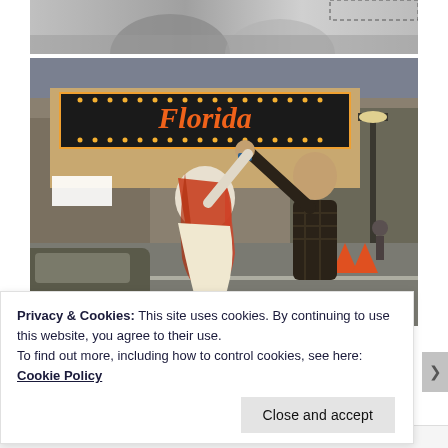[Figure (photo): Partially visible black and white photo at top — appears to show people, cropped]
[Figure (photo): Color photo of a couple dancing in front of a theater marquee reading 'Florida'. A woman with long red hair spins as a man in a plaid jacket holds her hand raised. City street scene with cars and pedestrians in background.]
Privacy & Cookies: This site uses cookies. By continuing to use this website, you agree to their use.
To find out more, including how to control cookies, see here: Cookie Policy
Close and accept